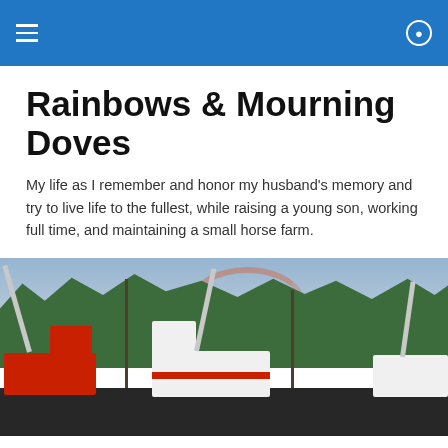Rainbows & Mourning Doves – navigation header with menu and search icons
Rainbows & Mourning Doves
My life as I remember and honor my husband's memory and try to live life to the fullest, while raising a young son, working full time, and maintaining a small horse farm.
[Figure (photo): Fire trucks with raised ladder trucks parked in a lot, trees and a faint rainbow visible in the background sky]
TAGGED WITH TAKE A WALK
Thanksgiving
Thanksgiving Thursday, Thanksgiving Thursday...